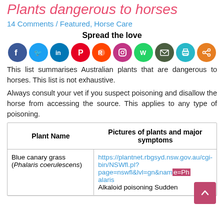Plants dangerous to horses
14 Comments / Featured, Horse Care
Spread the love
[Figure (infographic): Social media sharing icons: Facebook, Twitter, LinkedIn, Pinterest, Reddit, Instagram, WhatsApp, Email, Print, Share]
This list summarises Australian plants that are dangerous to horses. This list is not exhaustive.
Always consult your vet if you suspect poisoning and disallow the horse from accessing the source. This applies to any type of poisoning.
| Plant Name | Pictures of plants and major symptoms |
| --- | --- |
| Blue canary grass (Phalaris coerulescens) | https://plantnet.rbgsyd.nsw.gov.au/cgi-bin/NSWfl.pl?page=nswfl&lvl=gn&name=Phalaris
Alkaloid poisoning Sudden |